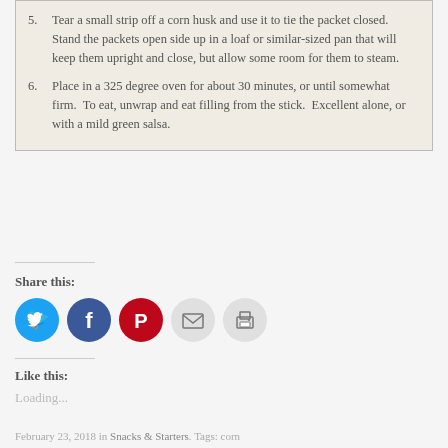5. Tear a small strip off a corn husk and use it to tie the packet closed.  Stand the packets open side up in a loaf or similar-sized pan that will keep them upright and close, but allow some room for them to steam.
6. Place in a 325 degree oven for about 30 minutes, or until somewhat firm.  To eat, unwrap and eat filling from the stick.  Excellent alone, or with a mild green salsa.
Share this:
[Figure (infographic): Row of five social sharing icon buttons: Twitter (blue), Facebook (dark blue), Pinterest (red), Email (light gray), Print (light gray)]
Like this:
Loading...
February 23, 2018 in Snacks & Starters. Tags: corn